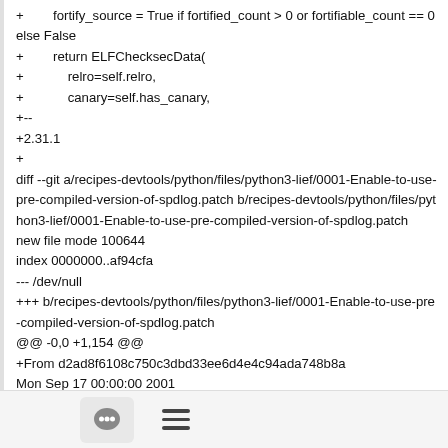+        fortify_source = True if fortified_count > 0 or fortifiable_count == 0 else False
+        return ELFChecksecData(
+            relro=self.relro,
+            canary=self.has_canary,
+--
+2.31.1
+
diff --git a/recipes-devtools/python/files/python3-lief/0001-Enable-to-use-pre-compiled-version-of-spdlog.patch b/recipes-devtools/python/files/python3-lief/0001-Enable-to-use-pre-compiled-version-of-spdlog.patch
new file mode 100644
index 0000000..af94cfa
--- /dev/null
+++ b/recipes-devtools/python/files/python3-lief/0001-Enable-to-use-pre-compiled-version-of-spdlog.patch
@@ -0,0 +1,154 @@
+From d2ad8f6108c750c3dbd33ee6d4e4c94ada748b8a
Mon Sep 17 00:00:00 2001
[Figure (other): Footer bar with chat bubble button and hamburger menu icon]